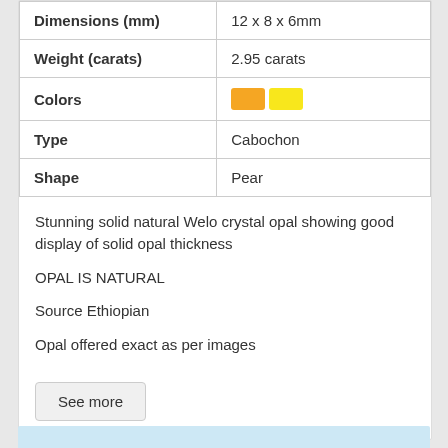| Dimensions (mm) | 12 x 8 x 6mm |
| Weight (carats) | 2.95 carats |
| Colors | [orange swatch] [yellow swatch] |
| Type | Cabochon |
| Shape | Pear |
Stunning solid natural Welo crystal opal showing good display of solid opal thickness
OPAL IS NATURAL
Source Ethiopian
Opal offered exact as per images